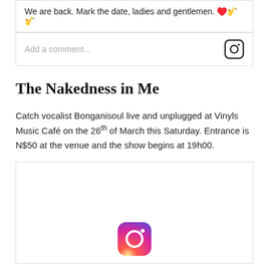We are back. Mark the date, ladies and gentlemen. ♥️🎷🎷
Add a comment...
The Nakedness in Me
Catch vocalist Bonganisoul live and unplugged at Vinyls Music Café on the 26th of March this Saturday. Entrance is N$50 at the venue and the show begins at 19h00.
[Figure (screenshot): Instagram embedded post placeholder with Instagram logo icon centered]